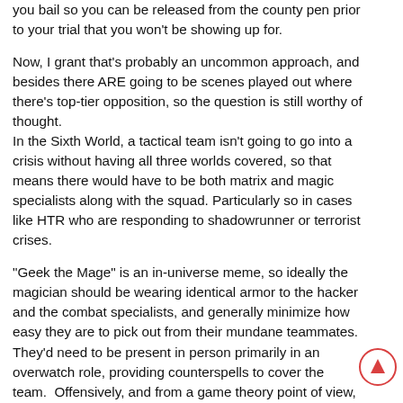you bail so you can be released from the county pen prior to your trial that you won't be showing up for.
Now, I grant that's probably an uncommon approach, and besides there ARE going to be scenes played out where there's top-tier opposition, so the question is still worthy of thought.
In the Sixth World, a tactical team isn't going to go into a crisis without having all three worlds covered, so that means there would have to be both matrix and magic specialists along with the squad. Particularly so in cases like HTR who are responding to shadowrunner or terrorist crises.
"Geek the Mage" is an in-universe meme, so ideally the magician should be wearing identical armor to the hacker and the combat specialists, and generally minimize how easy they are to pick out from their mundane teammates. They'd need to be present in person primarily in an overwatch role, providing counterspells to cover the team.  Offensively, and from a game theory point of view, nothing is as effective as spamming spirits at hostile shadowrunners.  Spells are